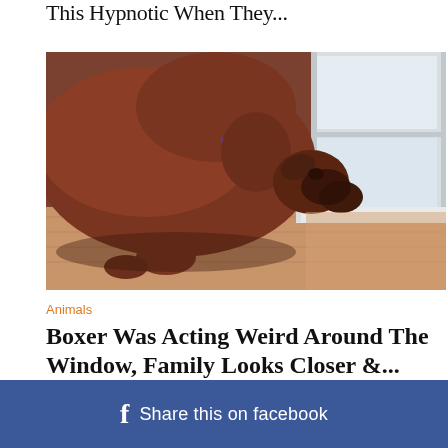This Hypnotic When They...
[Figure (photo): A brown Boxer dog with a purple collar standing and looking toward a sliding glass door/window. The dog is viewed from the side-rear. The floor is a light wood/laminate.]
Animals
Boxer Was Acting Weird Around The Window, Family Looks Closer &...
< >
f  Share this on facebook